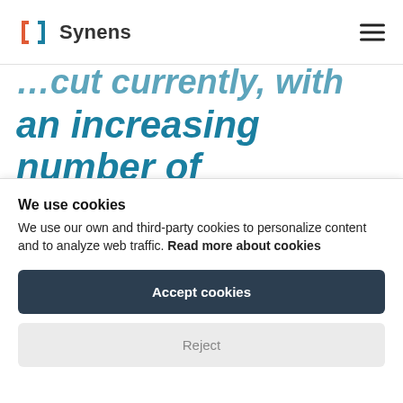Synens
an increasing number of jurisdictions have
We use cookies
We use our own and third-party cookies to personalize content and to analyze web traffic. Read more about cookies
Accept cookies
Reject